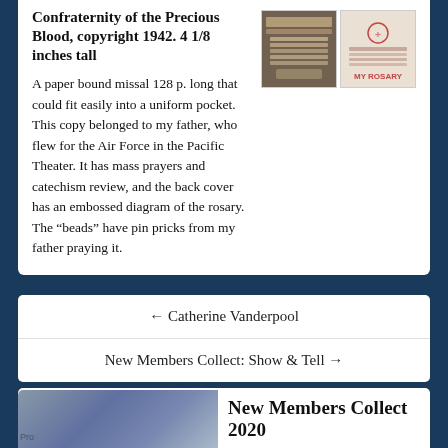Confraternity of the Precious Blood, copyright 1942. 4 1/8 inches tall
[Figure (photo): Two small booklet covers photographed side by side]
A paper bound missal 128 p. long that could fit easily into a uniform pocket. This copy belonged to my father, who flew for the Air Force in the Pacific Theater. It has mass prayers and catechism review, and the back cover has an embossed diagram of the rosary. The “beads” have pin pricks from my father praying it.
← Catherine Vanderpool
New Members Collect: Show & Tell →
Laura Wasowicz
New Members Collect 2020